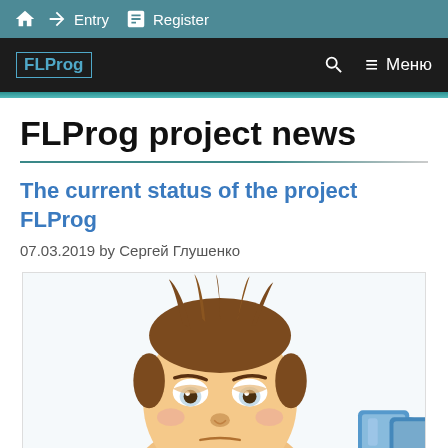Entry  Register
FLProg  Меню
FLProg project news
The current status of the project FLProg
07.03.2019 by Сергей Глушенко
[Figure (illustration): Cartoon illustration of a tired-looking man with messy brown hair, droopy eyes, and a blue coffee mug visible at the right edge.]